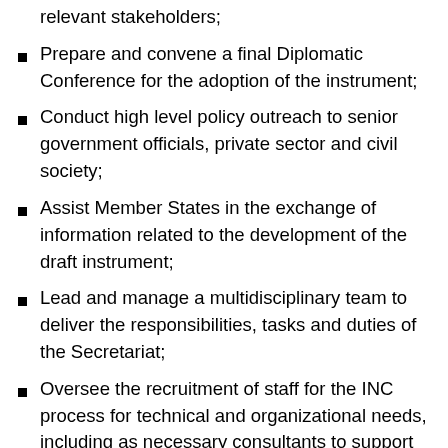relevant stakeholders;
Prepare and convene a final Diplomatic Conference for the adoption of the instrument;
Conduct high level policy outreach to senior government officials, private sector and civil society;
Assist Member States in the exchange of information related to the development of the draft instrument;
Lead and manage a multidisciplinary team to deliver the responsibilities, tasks and duties of the Secretariat;
Oversee the recruitment of staff for the INC process for technical and organizational needs, including as necessary consultants to support the negotiations;
Together with UNEP's Divisions, ensure that the negotiation process is informed by scientific analyses underpinning the life cycle of plastics;
Together with UNEP's Divisions, expand and nurture